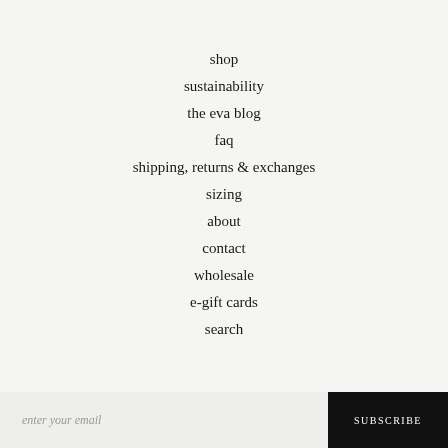shop
sustainability
the eva blog
faq
shipping, returns & exchanges
sizing
about
contact
wholesale
e-gift cards
search
enter your email
SUBSCRIBE